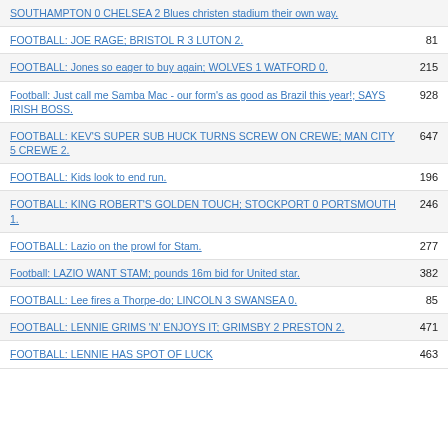SOUTHAMPTON 0 CHELSEA 2 Blues christen stadium their own way.
FOOTBALL: JOE RAGE; BRISTOL R 3 LUTON 2. | 81
FOOTBALL: Jones so eager to buy again; WOLVES 1 WATFORD 0. | 215
Football: Just call me Samba Mac - our form's as good as Brazil this year!; SAYS IRISH BOSS. | 928
FOOTBALL: KEV'S SUPER SUB HUCK TURNS SCREW ON CREWE; MAN CITY 5 CREWE 2. | 647
FOOTBALL: Kids look to end run. | 196
FOOTBALL: KING ROBERT'S GOLDEN TOUCH; STOCKPORT 0 PORTSMOUTH 1. | 246
FOOTBALL: Lazio on the prowl for Stam. | 277
Football: LAZIO WANT STAM; pounds 16m bid for United star. | 382
FOOTBALL: Lee fires a Thorpe-do; LINCOLN 3 SWANSEA 0. | 85
FOOTBALL: LENNIE GRIMS 'N' ENJOYS IT; GRIMSBY 2 PRESTON 2. | 471
FOOTBALL: LENNIE HAS SPOT OF LUCK | 463